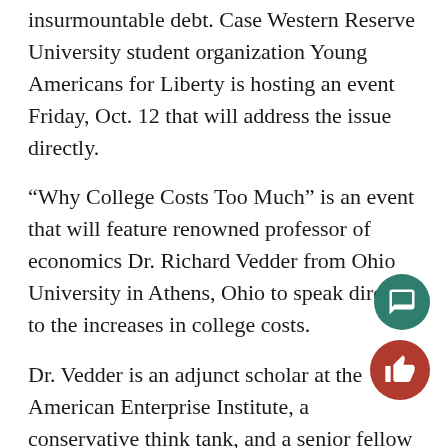insurmountable debt. Case Western Reserve University student organization Young Americans for Liberty is hosting an event Friday, Oct. 12 that will address the issue directly.
“Why College Costs Too Much” is an event that will feature renowned professor of economics Dr. Richard Vedder from Ohio University in Athens, Ohio to speak directly to the increases in college costs.
Dr. Vedder is an adjunct scholar at the American Enterprise Institute, a conservative think tank, and a senior fellow at the Independent Institute, a libertarian think tank.
Formerly appearing on PBS News Hour, Dr. Vedder is noted for his strong beliefs on how college as an institution has changed in recent history.
According to an article by the American Enterprise Institute, Dr. Vedder supports the cut of non-educational programs at colleges and increasing professor class loads, among othe…